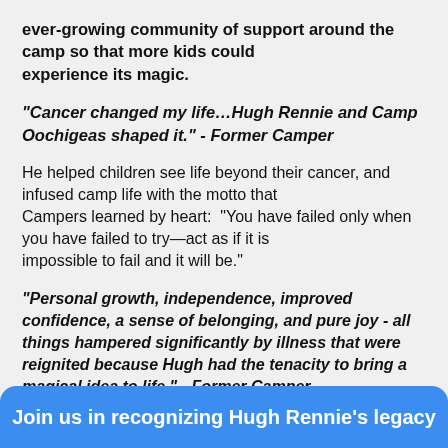ever-growing community of support around the camp so that more kids could experience its magic.
“Cancer changed my life…Hugh Rennie and Camp Oochigeas shaped it.” - Former Camper
He helped children see life beyond their cancer, and infused camp life with the motto that Campers learned by heart: “You have failed only when you have failed to try—act as if it is impossible to fail and it will be.”
“Personal growth, independence, improved confidence, a sense of belonging, and pure joy - all things hampered significantly by illness that were reignited because Hugh had the tenacity to bring a magical idea to life.” - Former Camper
Join us in recognizing Hugh Rennie’s legacy